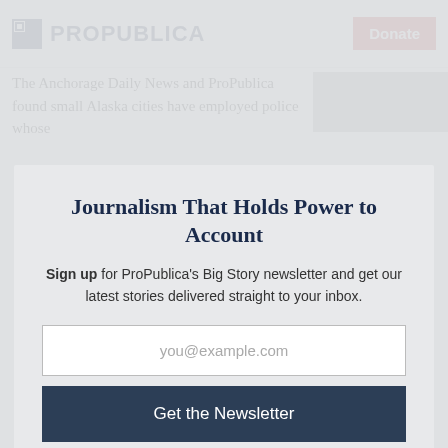ProPublica | Donate
The Anchorage Daily News and ProPublica found small Alaska cities have employed police whose
Journalism That Holds Power to Account
Sign up for ProPublica's Big Story newsletter and get our latest stories delivered straight to your inbox.
you@example.com
Get the Newsletter
No thanks, I'm all set
This site is protected by reCAPTCHA and the Google Privacy Policy and Terms of Service apply.